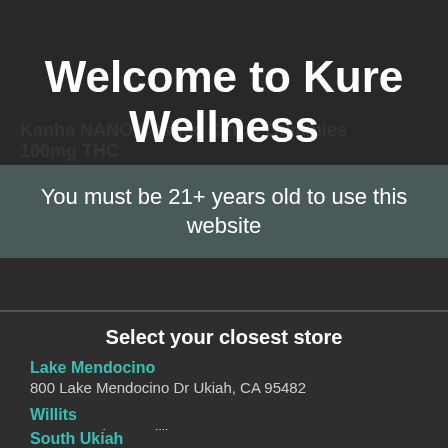Kanha NANO Cosmic Citrus Gummies 100mg THC
$22.95
Welcome to Kure Wellness
You must be 21+ years old to use this website
Select your closest store
Lake Mendocino
800 Lake Mendocino Dr Ukiah, CA 95482
Willits
1788 S Main St. Willits, CA 95490
South Ukiah
1480 S State St Ukiah, CA 95482